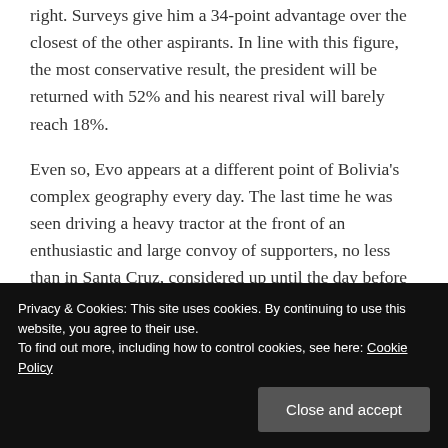right. Surveys give him a 34-point advantage over the closest of the other aspirants. In line with this figure, the most conservative result, the president will be returned with 52% and his nearest rival will barely reach 18%.
Even so, Evo appears at a different point of Bolivia's complex geography every day. The last time he was seen driving a heavy tractor at the front of an enthusiastic and large convoy of supporters, no less than in Santa Cruz, considered up until the day before a right-wing bastion.
Continue reading →
Privacy & Cookies: This site uses cookies. By continuing to use this website, you agree to their use.
To find out more, including how to control cookies, see here: Cookie Policy
Close and accept